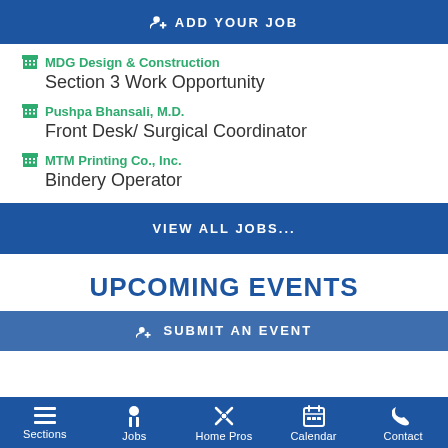+ ADD YOUR JOB
MDG Design & Construction — Section 3 Work Opportunity
Pushpa Bhansali, M.D. — Front Desk/ Surgical Coordinator
MTM Printing Co., Inc. — Bindery Operator
VIEW ALL JOBS...
UPCOMING EVENTS
SUBMIT AN EVENT
Sections | Jobs | Home Pros | Calendar | Contact